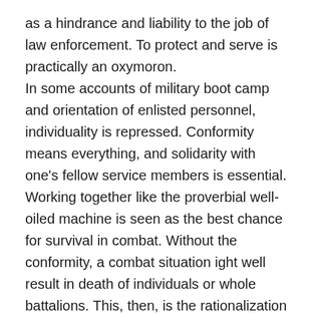as a hindrance and liability to the job of law enforcement. To protect and serve is practically an oxymoron.
In some accounts of military boot camp and orientation of enlisted personnel, individuality is repressed. Conformity means everything, and solidarity with one's fellow service members is essential. Working together like the proverbial well-oiled machine is seen as the best chance for survival in combat. Without the conformity, a combat situation ight well result in death of individuals or whole battalions. This, then, is the rationalization for stripping individuals of their compassion, sentimentality, and in some cases humanity. All of that is frequently seen as threatening to outright survival, and...success. Victory. For God and country, and